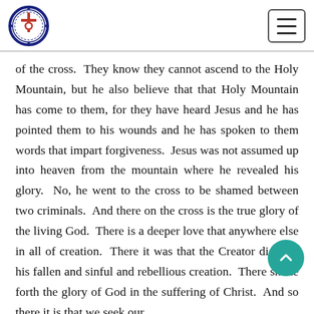[Lutheran church logo] [hamburger menu button]
of the cross.  They know they cannot ascend to the Holy Mountain, but he also believe that that Holy Mountain has come to them, for they have heard Jesus and he has pointed them to his wounds and he has spoken to them words that impart forgiveness.  Jesus was not assumed up into heaven from the mountain where he revealed his glory.  No, he went to the cross to be shamed between two criminals.  And there on the cross is the true glory of the living God.  There is a deeper love that anywhere else in all of creation.  There it was that the Creator died for his fallen and sinful and rebellious creation.  There shone forth the glory of God in the suffering of Christ.  And so there it is that we seek our